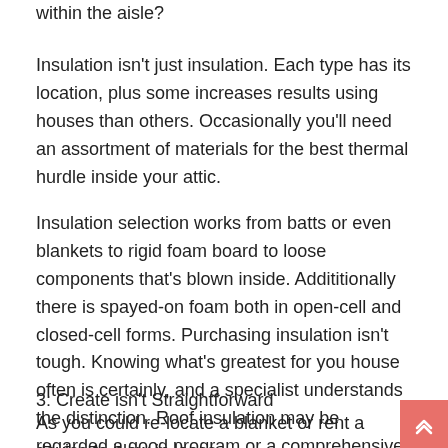within the aisle?
Insulation isn't just insulation. Each type has its location, plus some increases results using houses than others. Occasionally you'll need an assortment of materials for the best thermal hurdle inside your attic.
Insulation selection works from batts or even blankets to rigid foam board to loose components that's blown inside. Addititionally there is spayed-on foam both in open-cell and closed-cell forms. Purchasing insulation isn't tough. Knowing what's greatest for you house often is certainly, and a specialist understands the distinction. Roof insulation may be regarded a good program or a comprehensive disaster.
3: Create isn't Straightforward
As you could re-locate a blanket or rent a device to blow in loose